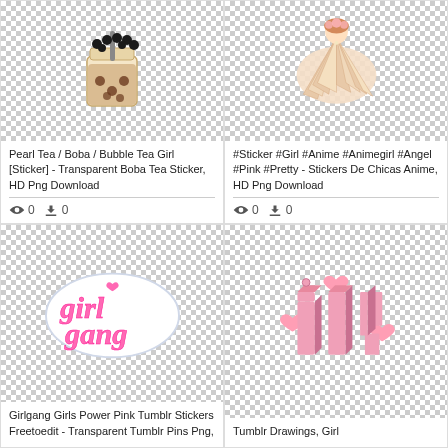[Figure (illustration): Pearl Tea / Boba drink cup with black pearl balls on top, transparent background with checkered pattern]
Pearl Tea / Boba / Bubble Tea Girl [Sticker] - Transparent Boba Tea Sticker, HD Png Download
0  0
[Figure (illustration): Anime girl with pink dress and angel wings, transparent background with checkered pattern]
#Sticker #Girl #Anime #Animegirl #Angel #Pink #Pretty - Stickers De Chicas Anime, HD Png Download
0  0
[Figure (illustration): Girl gang pink cursive text sticker with heart, transparent background with checkered pattern]
Girlgang Girls Power Pink Tumblr Stickers Freetoedit - Transparent Tumblr Pins Png,
[Figure (illustration): ILY 3D pink block letters sticker with hearts, transparent background with checkered pattern]
Tumblr Drawings, Girl